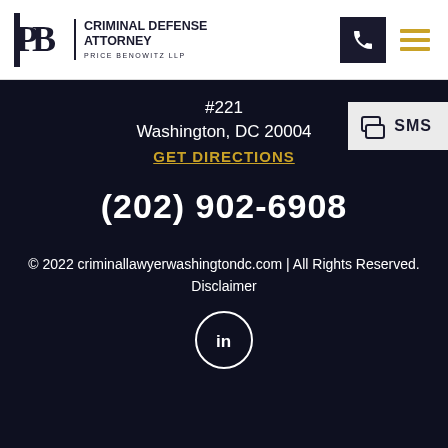[Figure (logo): Price Benowitz LLP Criminal Defense Attorney logo with PB letter mark and firm name]
#221
Washington, DC  20004
GET DIRECTIONS
SMS
(202) 902-6908
© 2022 criminallawyerwashingtondc.com | All Rights Reserved.
Disclaimer